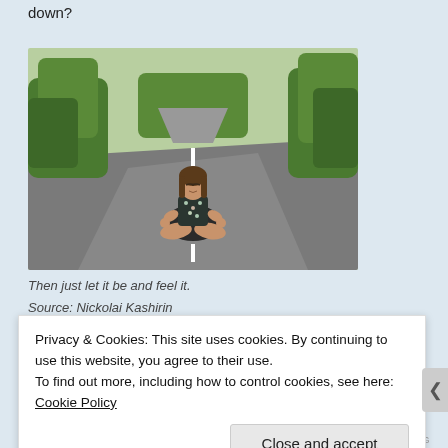down?
[Figure (photo): A woman sitting in a yoga lotus position in the middle of an empty road, surrounded by green trees. The road stretches into the distance. The woman wears a dark floral dress and sits with eyes closed.]
Then just let it be and feel it.
Source: Nickolai Kashirin
Privacy & Cookies: This site uses cookies. By continuing to use this website, you agree to their use.
To find out more, including how to control cookies, see here: Cookie Policy
Close and accept